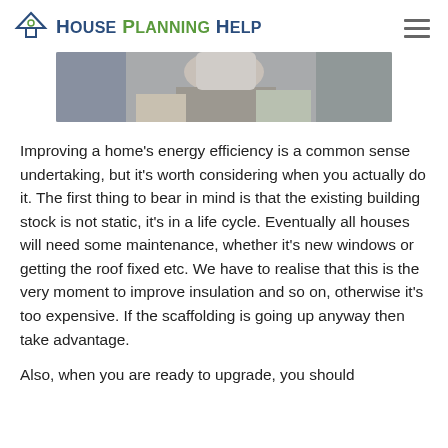House Planning Help
[Figure (photo): Partial photo of a person handling insulation material, cropped at top of page]
Improving a home's energy efficiency is a common sense undertaking, but it's worth considering when you actually do it. The first thing to bear in mind is that the existing building stock is not static, it's in a life cycle. Eventually all houses will need some maintenance, whether it's new windows or getting the roof fixed etc. We have to realise that this is the very moment to improve insulation and so on, otherwise it's too expensive. If the scaffolding is going up anyway then take advantage.
Also, when you are ready to upgrade, you should